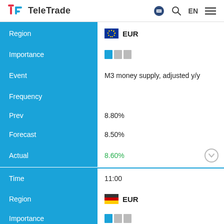TeleTrade
| Field | Value |
| --- | --- |
| Region | EUR |
| Importance | 1/3 |
| Event | M3 money supply, adjusted y/y |
| Frequency |  |
| Prev | 8.80% |
| Forecast | 8.50% |
| Actual | 8.60% |
| Time | 11:00 |
| Region | EUR |
| Importance | 1/3 |
| Event | IFO - Business Climate |
| Frequency |  |